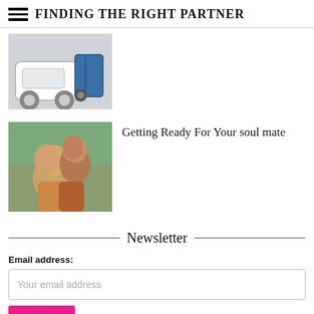FINDING THE RIGHT PARTNER
[Figure (photo): A white car with a bicycle or wheelchair beside it]
[Figure (photo): A couple embracing outdoors, man kissing woman on head]
Getting Ready For Your soul mate
Newsletter
Email address:
Your email address